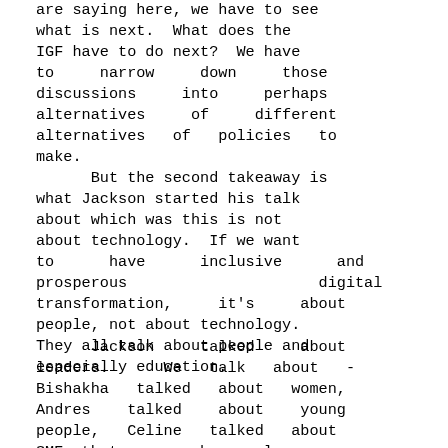are saying here, we have to see what is next.  What does the IGF have to do next?  We have to    narrow    down    those discussions    into    perhaps alternatives    of    different alternatives  of  policies  to make.
But the second takeaway is what Jackson started his talk about which was this is not about technology.  If we want to     have     inclusive     and prosperous                    digital transformation,    it's    about people, not about technology. They all talk about people and especially education.
Jackson    talked    about leaders.    We  talk  about  - Bishakha  talked  about  women, Andres   talked   about   young people,  Celine  talked  about SMEs that are run by people.